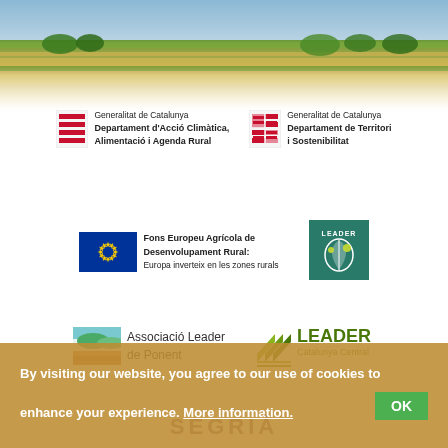[Figure (photo): Aerial landscape photo of agricultural fields and rural land in Catalonia, with green trees and golden crops stretching to the horizon]
[Figure (logo): Generalitat de Catalunya - Departament d'Acció Climàtica, Alimentació i Agenda Rural logo with four-bar red emblem]
[Figure (logo): Generalitat de Catalunya - Departament de Territori i Sostenibilitat logo with four-section red shield emblem]
[Figure (logo): EU flag blue square with yellow stars - Fons Europeu Agrícola de Desenvolupament Rural: Europa inverteix en les zones rurals]
[Figure (logo): LEADER programme green square logo with leaf/plant graphic]
[Figure (logo): Associació Leader de Ponent logo with landscape icon]
[Figure (logo): LEADER Catalunya Central logo with green chevron/wheat graphic]
By visiting our website, you agree to our use of cookies to enhance your experience. More information.
OK